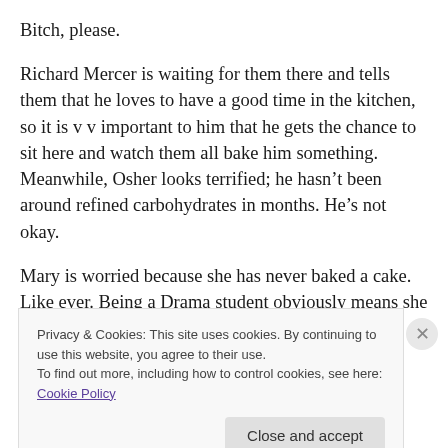Bitch, please.
Richard Mercer is waiting for them there and tells them that he loves to have a good time in the kitchen, so it is v v important to him that he gets the chance to sit here and watch them all bake him something. Meanwhile, Osher looks terrified; he hasn't been around refined carbohydrates in months. He's not okay.
Mary is worried because she has never baked a cake. Like ever. Being a Drama student obviously means she
Privacy & Cookies: This site uses cookies. By continuing to use this website, you agree to their use.
To find out more, including how to control cookies, see here: Cookie Policy
Close and accept